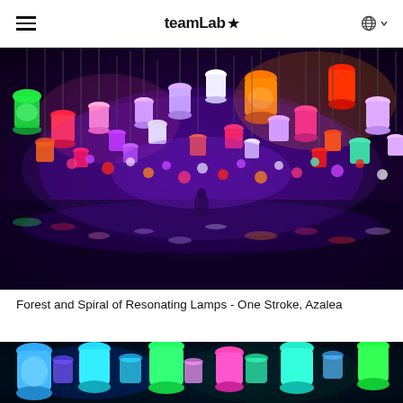teamLab★
[Figure (photo): Installation art: a vast forest of hanging lamps glowing in purple, magenta, red, orange, and green hues suspended above a mirrored floor, with a person visible in the center.]
Forest and Spiral of Resonating Lamps - One Stroke, Azalea
[Figure (photo): Installation art: hanging lamps glowing in blue, cyan, green, and magenta hues against a dark background, bottom portion of image.]